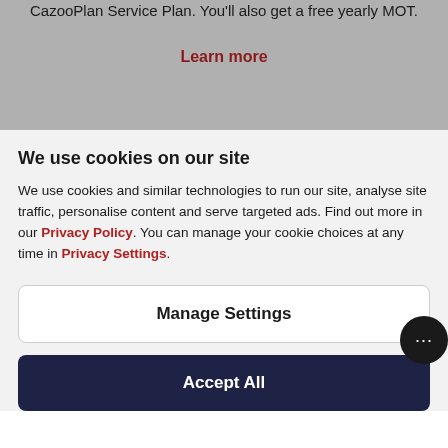CazooPlan Service Plan. You'll also get a free yearly MOT.
Learn more
We use cookies on our site
We use cookies and similar technologies to run our site, analyse site traffic, personalise content and serve targeted ads. Find out more in our Privacy Policy. You can manage your cookie choices at any time in Privacy Settings.
Manage Settings
Accept All